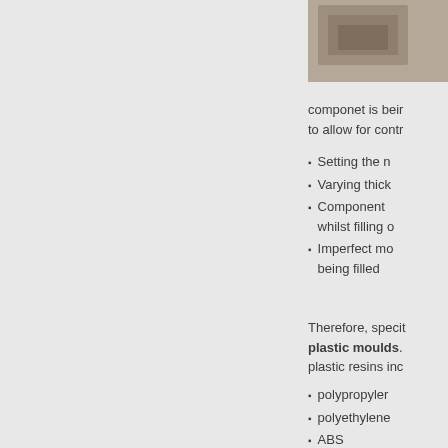[Figure (photo): Partial photo visible in top-right corner, appears to show a person or hands working]
componet is being to allow for contr
Setting the m
Varying thick
Component  whilst filling o
Imperfect mo being filled
Therefore, speci plastic moulds. plastic resins inc
polypropylen
polyethylene
ABS
This is where kno there advantages its weight in gold